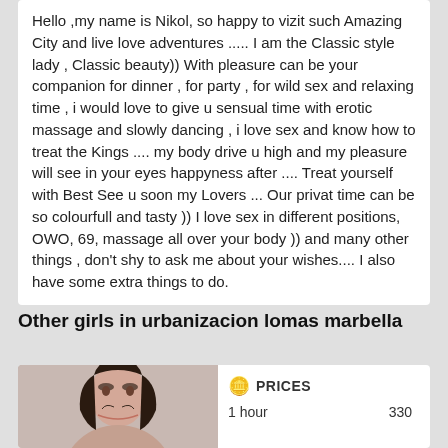Hello ,my name is Nikol, so happy to vizit such Amazing City and live love adventures ..... I am the Classic style lady , Classic beauty)) With pleasure can be your companion for dinner , for party , for wild sex and relaxing time , i would love to give u sensual time with erotic massage and slowly dancing , i love sex and know how to treat the Kings .... my body drive u high and my pleasure will see in your eyes happyness after .... Treat yourself with Best See u soon my Lovers ... Our privat time can be so colourfull and tasty )) I love sex in different positions, OWO, 69, massage all over your body )) and many other things , don't shy to ask me about your wishes.... I also have some extra things to do.
Other girls in urbanizacion lomas marbella
[Figure (photo): Photo of a woman with dark hair, partially visible at bottom of page]
| PRICES |  |
| --- | --- |
| 1 hour | 330 |